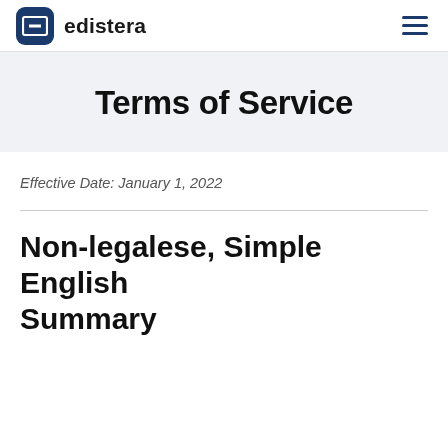edistera
Terms of Service
Effective Date: January 1, 2022
Non-legalese, Simple English Summary